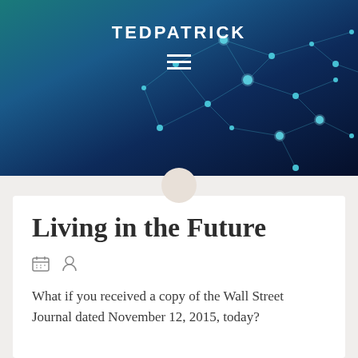[Figure (illustration): Website header banner with a dark blue network/node graph visualization background. The left portion transitions from teal/cyan to deep navy blue. Connected nodes and lines form a network pattern across the right side of the image.]
TEDPATRICK
Living in the Future
What if you received a copy of the Wall Street Journal dated November 12, 2015, today?